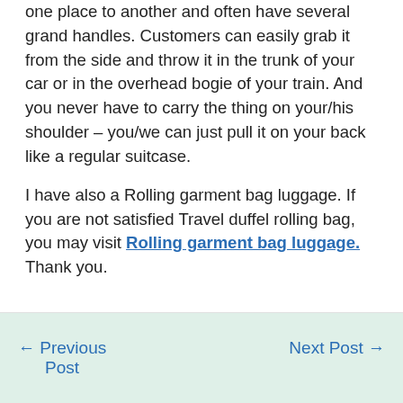one place to another and often have several grand handles. Customers can easily grab it from the side and throw it in the trunk of your car or in the overhead bogie of your train. And you never have to carry the thing on your/his shoulder – you/we can just pull it on your back like a regular suitcase.
I have also a Rolling garment bag luggage. If you are not satisfied Travel duffel rolling bag, you may visit Rolling garment bag luggage. Thank you.
← Previous Post
Next Post →